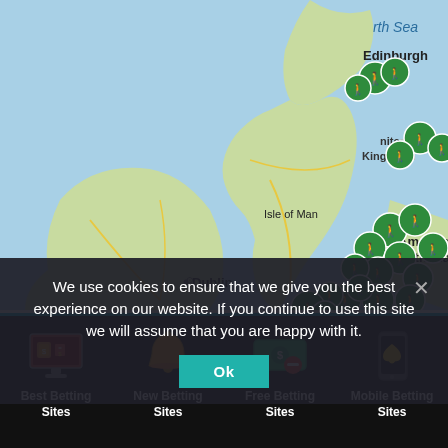[Figure (map): Map of the United Kingdom and surrounding areas showing numerous green location pin markers concentrated in England, particularly the Midlands and South. Visible locations include Edinburgh, Isle of Man, Dublin, Ireland, Manchester/Birmingham area, Amsterdam, Netherlands, and North Sea label. Yellow road network visible over Ireland and England.]
We use cookies to ensure that we give you the best experience on our website. If you continue to use this site we will assume that you are happy with it.
[Figure (other): Teal/cyan 'Ok' button for cookie consent]
[Figure (infographic): Bottom navigation bar with four icons and labels: Best Betting Sites (monitor with cards icon), New Betting Sites (golden bell icon), Free Betting Sites (money with minus icon), Mobile Betting Sites (phone with spade icon)]